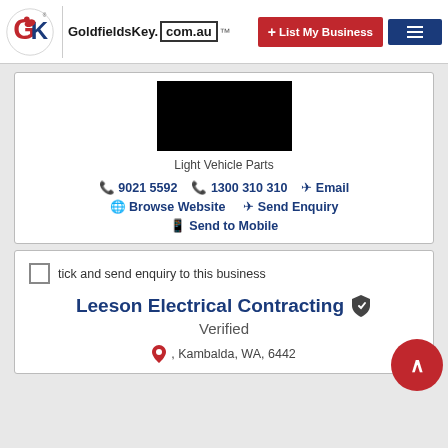GoldfieldsKey.com.au — + List My Business — menu
[Figure (screenshot): Black image block representing Light Vehicle Parts product photo]
Light Vehicle Parts
9021 5592   1300 310 310   Email   Browse Website   Send Enquiry   Send to Mobile
tick and send enquiry to this business
Leeson Electrical Contracting  Verified
, Kambalda, WA, 6442